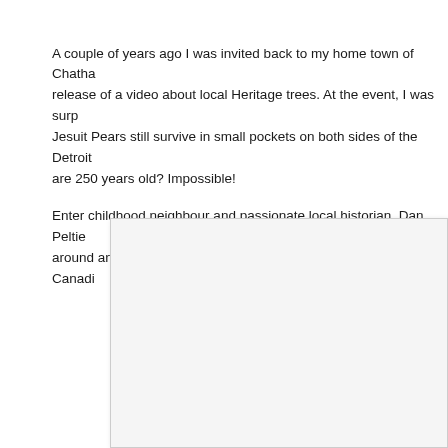A couple of years ago I was invited back to my home town of Chatha release of a video about local Heritage trees. At the event, I was surp Jesuit Pears still survive in small pockets on both sides of the Detroit are 250 years old? Impossible!
Enter childhood neighbour and passionate local historian, Dan Peltie around and introduce me in person to three old timers on the Canadi
[Figure (photo): A photograph displayed within a light grey bordered frame, partially visible at the bottom right of the page. The photo content is not discernible.]